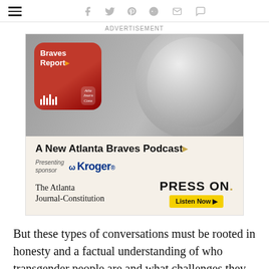Social sharing icons: hamburger menu, facebook, twitter, pinterest, reddit, email, comment
[Figure (illustration): Advertisement for Braves Report podcast by The Atlanta Journal-Constitution, sponsored by Kroger. Shows a baseball and glove in black and white with a podcast badge overlay. Text: A New Atlanta Braves Podcast. Presenting sponsor Kroger. PRESS ON. Listen Now.]
But these types of conversations must be rooted in honesty and a factual understanding of who transgender people are and what challenges they face.